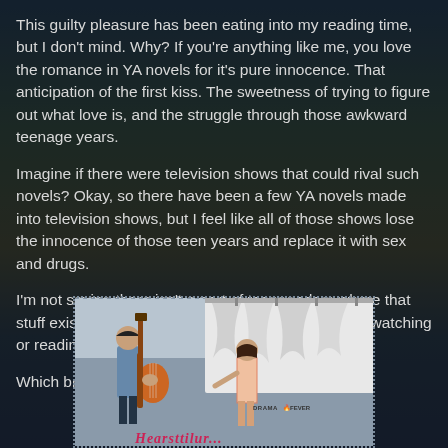This guilty pleasure has been eating into my reading time, but I don't mind. Why? If you're anything like me, you love the romance in YA novels for it's pure innocence. That anticipation of the first kiss. The sweetness of trying to figure out what love is, and the struggle through those awkward teenage years.
Imagine if there were television shows that could rival such novels? Okay, so there have been a few YA novels made into television shows, but I feel like all of those shows lose the innocence of those teen years and replace it with sex and drugs.
I'm not saying there isn't a part of teenagedom where that stuff exists. I'm just saying I don't particularity enjoy watching or reading about it.
Which brings me back to my guilty pleasure.
[Figure (photo): Photo of two people — one playing a guitar on the left and a girl on the right — against a backdrop with hanging white cloth/curtains. A DramaFever watermark is visible, along with stylized text at the bottom.]